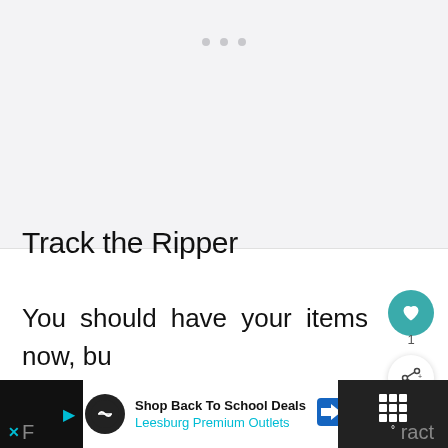[Figure (screenshot): Light gray rectangular image placeholder area with three small gray dots near the top center, suggesting a loading or empty image state.]
Track the Ripper
You should have your items now, bu your jacket was taken.
[Figure (infographic): Floating action buttons: teal heart button and white share button with badge count 1]
[Figure (screenshot): Bottom ad bar: Shop Back To School Deals, Leesburg Premium Outlets advertisement with a navigation arrow icon and a word game icon on the right.]